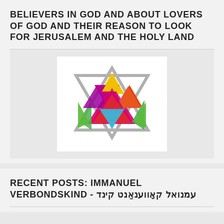BELIEVERS IN GOD AND ABOUT LOVERS OF GOD AND THEIR REASON TO LOOK FOR JERUSALEM AND THE HOLY LAND
[Figure (illustration): Colorful Star of David logo made of overlapping triangles in multiple colors: yellow, orange, red, purple, magenta, blue/teal, and green, with gray outer star outlines. Displayed on a white background.]
RECENT POSTS: IMMANUEL VERBONDSKIND - עמנואל קאָווענאַנט קינד